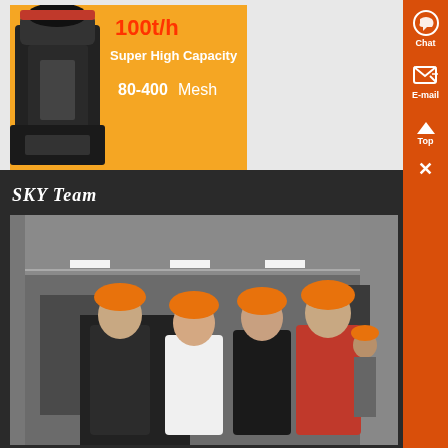[Figure (photo): Advertisement banner for industrial grinding machine showing orange background, machine image, text '100t/h Super High Capacity' and '80-400 Mesh']
SKY Team
[Figure (photo): Four people wearing orange hard hats standing in an industrial factory/workshop setting. Three men and one woman posing together.]
[Figure (other): Orange vertical sidebar with Chat, E-mail, Top navigation buttons and a close X button]